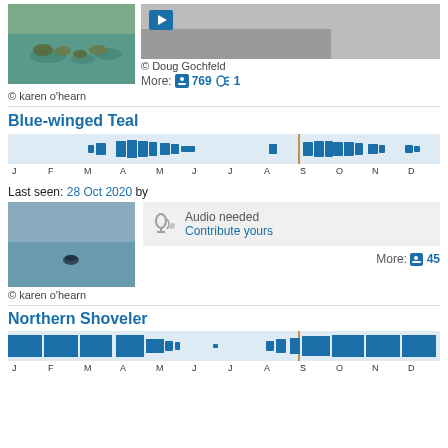[Figure (photo): Duck photo by karen o'hearn - birds on water]
© karen o'hearn
[Figure (photo): Video thumbnail by Doug Gochfeld with play button]
© Doug Gochfeld
More: 📷 769 🔊 1
Blue-winged Teal
[Figure (bar-chart): Seasonal bar chart for Blue-winged Teal - bars present March through May and August through November with orange today marker]
Last seen: 28 Oct 2020 by
[Figure (photo): Blue-winged Teal on water by karen o'hearn]
© karen o'hearn
Audio needed
Contribute yours
More: 📷 45
Northern Shoveler
[Figure (bar-chart): Seasonal bar chart for Northern Shoveler - heavy presence January through April, some May-June, August through December with orange today marker]